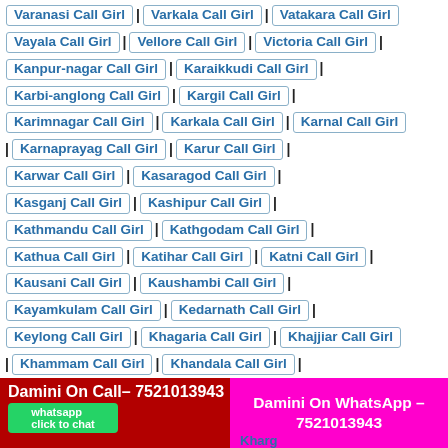Varanasi Call Girl | Varkala Call Girl | Vatakara Call Girl
Vayala Call Girl | Vellore Call Girl | Victoria Call Girl
Kanpur-nagar Call Girl | Karaikkudi Call Girl
Karbi-anglong Call Girl | Kargil Call Girl
Karimnagar Call Girl | Karkala Call Girl | Karnal Call Girl
| Karnaprayag Call Girl | Karur Call Girl |
Karwar Call Girl | Kasaragod Call Girl |
Kasganj Call Girl | Kashipur Call Girl |
Kathmandu Call Girl | Kathgodam Call Girl |
Kathua Call Girl | Katihar Call Girl | Katni Call Girl |
Kausani Call Girl | Kaushambi Call Girl |
Kayamkulam Call Girl | Kedarnath Call Girl |
Keylong Call Girl | Khagaria Call Girl | Khajjiar Call Girl
| Khammam Call Girl | Khandala Call Girl |
Damini On Call– 7521013943
Damini On WhatsApp – 7521013943
Kharg...